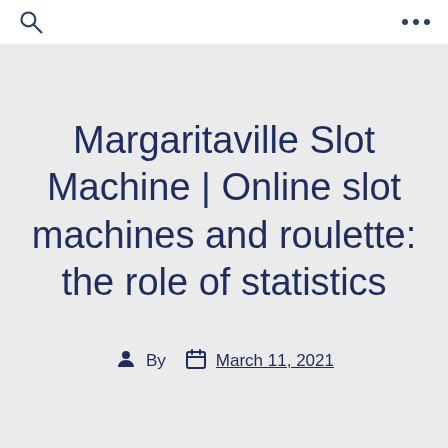Margaritaville Slot Machine | Online slot machines and roulette: the role of statistics
By  March 11, 2021